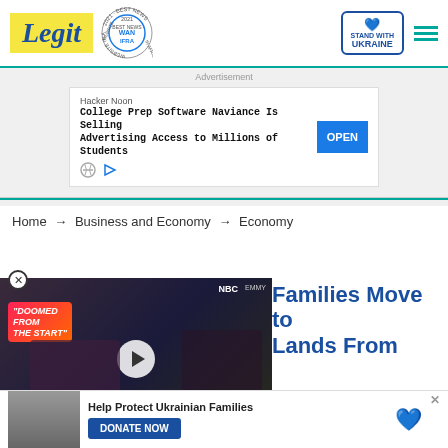Legit — WAN-IFRA 2021 Best News Website in Africa — Stand with Ukraine — Menu
[Figure (screenshot): Advertisement banner: Hacker Noon — College Prep Software Naviance Is Selling Advertising Access to Millions of Students — OPEN button]
Home → Business and Economy → Economy
[Figure (screenshot): Video player overlay showing two people with text 'DOOMED FROM THE START' and a play button. NBC and EMMY watermarks visible.]
Families Move to Lands From
[Figure (screenshot): Help Protect Ukrainian Families — DONATE NOW button with Ukrainian flag heart icon and a news thumbnail]